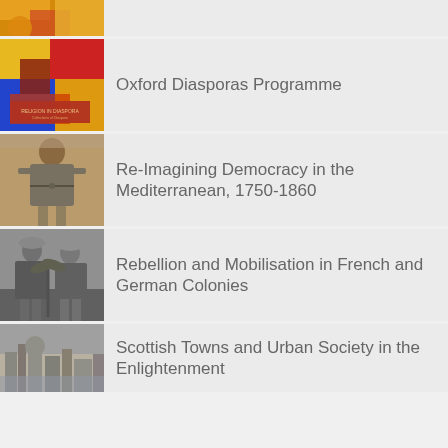[Figure (photo): Partial top strip showing a colorful abstract image thumbnail]
Oxford Diasporas Programme
[Figure (photo): Colorful abstract art book cover with text 'Religion in Diaspora']
Re-Imagining Democracy in the Mediterranean, 1750-1860
[Figure (photo): Sepia historical photograph of a man in traditional clothing]
Rebellion and Mobilisation in French and German Colonies
[Figure (photo): Black and white photograph of two people in colonial-era attire]
Scottish Towns and Urban Society in the Enlightenment
[Figure (photo): Partial black and white photograph of a Scottish town skyline]